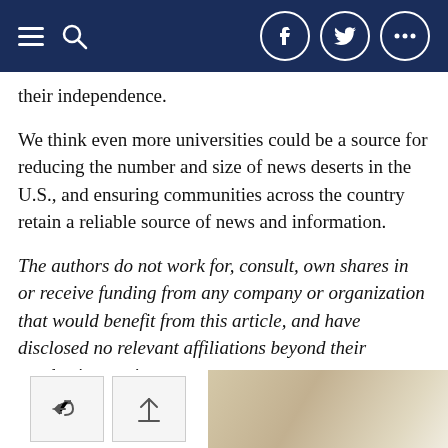Navigation bar with hamburger menu, search icon, Facebook, Twitter, and more icons
their independence.
We think even more universities could be a source for reducing the number and size of news deserts in the U.S., and ensuring communities across the country retain a reliable source of news and information.
The authors do not work for, consult, own shares in or receive funding from any company or organization that would benefit from this article, and have disclosed no relevant affiliations beyond their academic appointment.
Editor's Picks
[Figure (screenshot): Navigation buttons (back and up arrows) and a partial image at the bottom of the page]